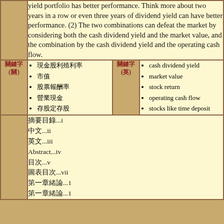yield portfolio has better performance. Think more about two years in a row or even three years of dividend yield can have better performance. (2) The two combinations can defeat the market by considering both the cash dividend yield and the market value, and the combination by the cash dividend yield and the operating cash flow.
關鍵字（關鍵詞）: 現金股利殖利率、市值、股票報酬率、營業現金流量、存股
Keywords: cash dividend yield, market value, stock return, operating cash flow, stocks like time deposit
摘要目錄...i
中文...ii
英文...iii
Abstract...iv
目次...v
圖表目次...vii
第一章緒論...1
第一章緒論...1